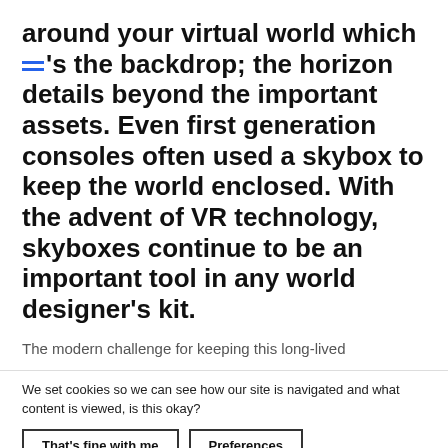around your virtual world which [menu icon]'s the backdrop; the horizon details beyond the important assets. Even first generation consoles often used a skybox to keep the world enclosed. With the advent of VR technology, skyboxes continue to be an important tool in any world designer's kit.
The modern challenge for keeping this long-lived
We set cookies so we can see how our site is navigated and what content is viewed, is this okay?